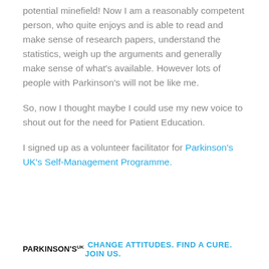potential minefield! Now I am a reasonably competent person, who quite enjoys and is able to read and make sense of research papers, understand the statistics, weigh up the arguments and generally make sense of what's available. However lots of people with Parkinson's will not be like me.
So, now I thought maybe I could use my new voice to shout out for the need for Patient Education.
I signed up as a volunteer facilitator for Parkinson's UK's Self-Management Programme.
PARKINSON'S UK CHANGE ATTITUDES. FIND A CURE. JOIN US.